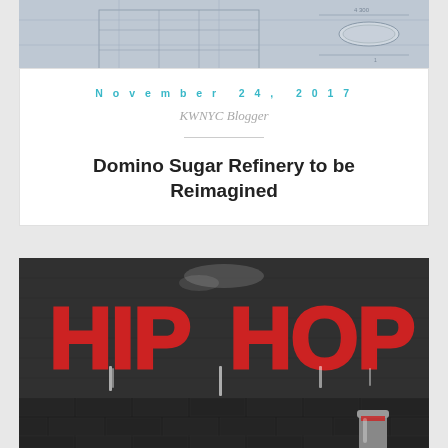[Figure (photo): Blueprint/architectural drawing image at the top of the card]
November 24, 2017
KWNYC Blogger
Domino Sugar Refinery to be Reimagined
[Figure (photo): Hip Hop graffiti text painted in red on a dark brick wall with a paint can at the bottom right]